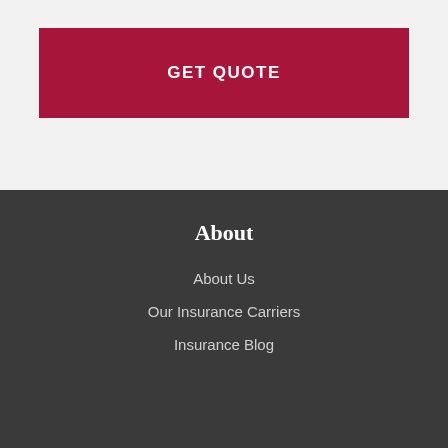GET QUOTE
About
About Us
Our Insurance Carriers
Insurance Blog